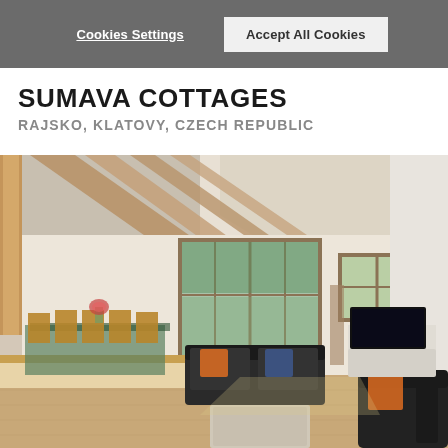Cookies Settings | Accept All Cookies
SUMAVA COTTAGES
RAJSKO, KLATOVY, CZECH REPUBLIC
[Figure (photo): Interior of a Sumava cottage showing an open-plan living and dining area with exposed wooden roof beams, black sofas with colorful cushions, a coffee table, a black armchair, a TV unit on the right, a dining table with chairs on the left, large glass windows/doors showing greenery outside, and hardwood floors.]